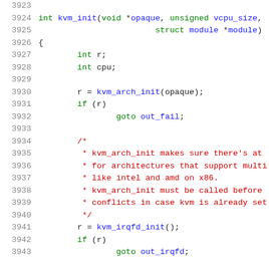[Figure (screenshot): Source code listing showing lines 3923-3943 of a C file implementing kvm_init function with syntax highlighting. Line numbers in gray on left, keywords in green, function names and parameters in blue, comments in red.]